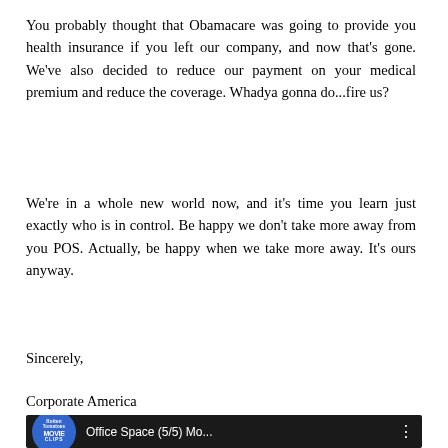You probably thought that Obamacare was going to provide you health insurance if you left our company, and now that's gone. We've also decided to reduce our payment on your medical premium and reduce the coverage. Whadya gonna do...fire us?
We're in a whole new world now, and it's time you learn just exactly who is in control. Be happy we don't take more away from you POS. Actually, be happy when we take more away. It's ours anyway.
Sincerely,
Corporate America
[Figure (screenshot): YouTube video thumbnail showing 'Rotten Tomatoes Movie Clips' channel icon and video title 'Office Space (5/5) Mo...' with three-dot menu icon, on dark background]